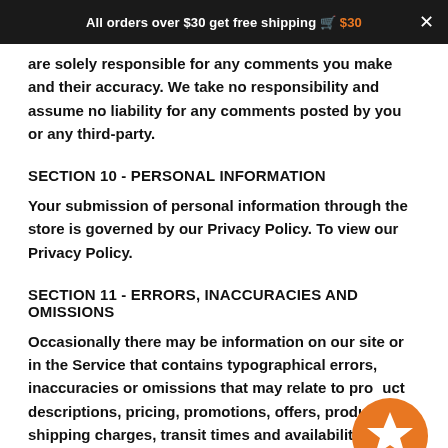All orders over $30 get free shipping 🛒 $30  ✕
are solely responsible for any comments you make and their accuracy. We take no responsibility and assume no liability for any comments posted by you or any third-party.
SECTION 10 - PERSONAL INFORMATION
Your submission of personal information through the store is governed by our Privacy Policy. To view our Privacy Policy.
SECTION 11 - ERRORS, INACCURACIES AND OMISSIONS
Occasionally there may be information on our site or in the Service that contains typographical errors, inaccuracies or omissions that may relate to product descriptions, pricing, promotions, offers, product shipping charges, transit times and availability. We